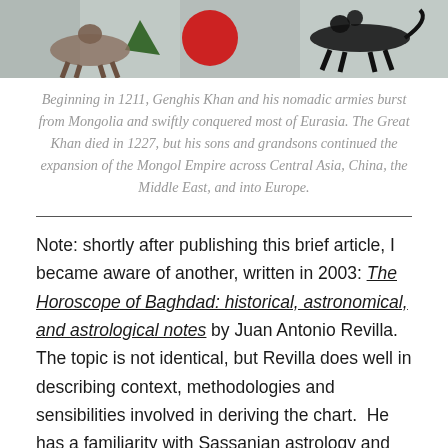[Figure (photo): Partial view of a historical painting or fresco showing figures on horseback with red circular and triangular shapes, against a mottled background — depicting Mongol or Central Asian warriors]
Beginning in 1211, Genghis Khan and his nomadic armies burst from Mongolia and swiftly conquered most of Eurasia. The Great Khan died in 1227, but his sons and grandsons continued the expansion of the Mongol Empire across Central Asia, China, the Middle East, and into Europe.
Note: shortly after publishing this brief article, I became aware of another, written in 2003: The Horoscope of Baghdad: historical, astronomical, and astrological notes by Juan Antonio Revilla. The topic is not identical, but Revilla does well in describing context, methodologies and sensibilities involved in deriving the chart. He has a familiarity with Sassanian astrology and discusses many things readers with knowledge of the era may be pleased to...